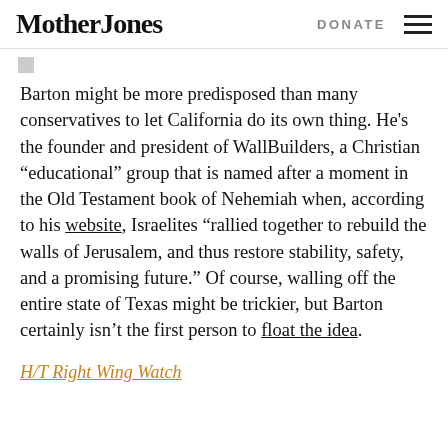Mother Jones  DONATE
Barton might be more predisposed than many conservatives to let California do its own thing. He's the founder and president of WallBuilders, a Christian “educational” group that is named after a moment in the Old Testament book of Nehemiah when, according to his website, Israelites “rallied together to rebuild the walls of Jerusalem, and thus restore stability, safety, and a promising future.” Of course, walling off the entire state of Texas might be trickier, but Barton certainly isn’t the first person to float the idea.
H/T Right Wing Watch